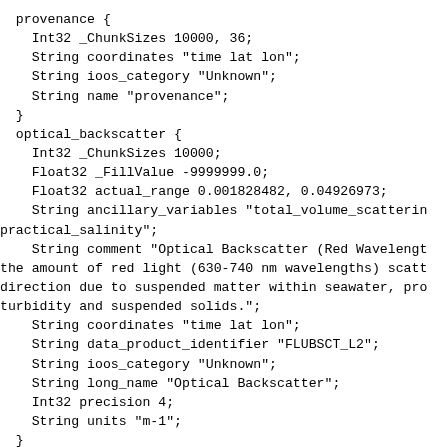provenance {
    Int32 _ChunkSizes 10000, 36;
    String coordinates "time lat lon";
    String ioos_category "Unknown";
    String name "provenance";
  }
  optical_backscatter {
    Int32 _ChunkSizes 10000;
    Float32 _FillValue -9999999.0;
    Float32 actual_range 0.001828482, 0.04926973;
    String ancillary_variables "total_volume_scatterin
practical_salinity";
    String comment "Optical Backscatter (Red Wavelengt
the amount of red light (630-740 nm wavelengths) scatt
direction due to suspended matter within seawater, pro
turbidity and suspended solids.";
    String coordinates "time lat lon";
    String data_product_identifier "FLUBSCT_L2";
    String ioos_category "Unknown";
    String long_name "Optical Backscatter";
    Int32 precision 4;
    String units "m-1";
  }
  internal_timestamp {
    Int32 _ChunkSizes 10000;
    Float32 _FillValue -9999999.0;